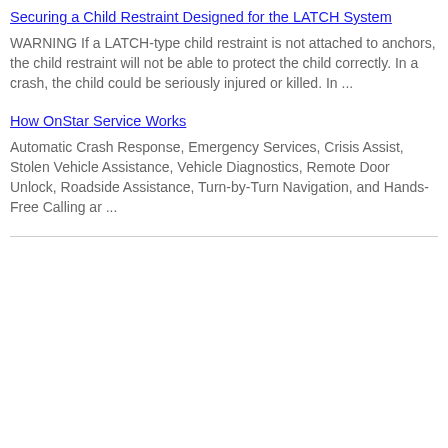Securing a Child Restraint Designed for the LATCH System
WARNING If a LATCH-type child restraint is not attached to anchors, the child restraint will not be able to protect the child correctly. In a crash, the child could be seriously injured or killed. In ...
How OnStar Service Works
Automatic Crash Response, Emergency Services, Crisis Assist, Stolen Vehicle Assistance, Vehicle Diagnostics, Remote Door Unlock, Roadside Assistance, Turn-by-Turn Navigation, and Hands-Free Calling ar ...